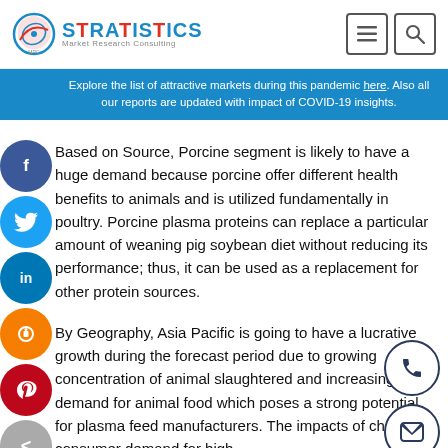Stratistics Market Research Consulting
Explore the list of attractive markets during this pandemic here. Also all our reports are updated with impact of COVID-19 insights.
Based on Source, Porcine segment is likely to have a huge demand because porcine offer different health benefits to animals and is utilized fundamentally in poultry. Porcine plasma proteins can replace a particular amount of weaning pig soybean diet without reducing its performance; thus, it can be used as a replacement for other protein sources.
By Geography, Asia Pacific is going to have a lucrative growth during the forecast period due to growing concentration of animal slaughtered and increasing demand for animal food which poses a strong potential for plasma feed manufacturers. The impacts of changing consumer demand for high